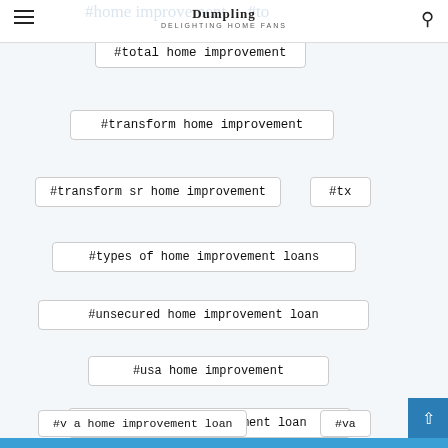Dumpling — DELIGHTING HOME FANS
#total home improvement
#transform home improvement
#transform sr home improvement
#tx
#types of home improvement loans
#unsecured home improvement loan
#usa home improvement
#usaa home improvement loan
#v a home improvement loan
#va
#va home improvement grant
#va home improvement loan (partial, cut off)